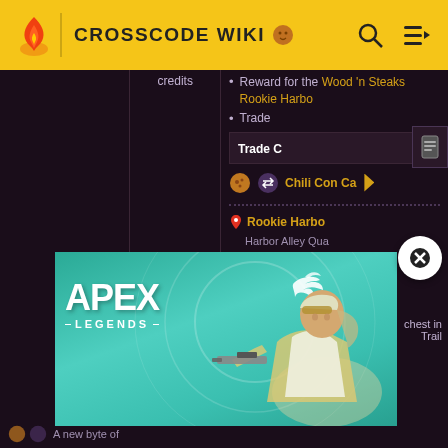CROSSCODE WIKI
credits
Reward for the Wood 'n Steaks Rookie Harbor
Trade
Trade C
Chili Con Ca
Rookie Harbor
Harbor Alley Qua
ombus T
[Figure (photo): Apex Legends advertisement banner featuring a female sniper character with white/teal outfit and a large gun, with the text APEX LEGENDS on a teal background with a white bird creature]
90 sec
chest in Trail